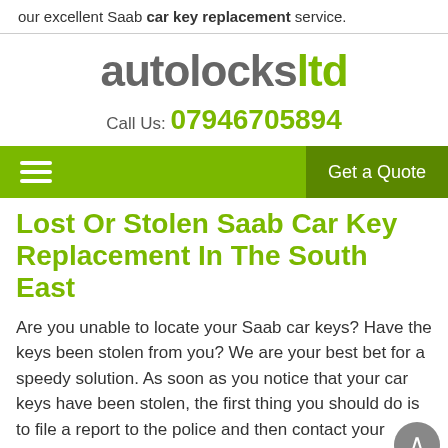our excellent Saab car key replacement service.
[Figure (logo): autolocksltd logo with 'autolocks' in grey and 'ltd' in green]
Call Us: 07946705894
[Figure (screenshot): Green navigation bar with hamburger menu icon on left and 'Get a Quote' button on right]
Lost Or Stolen Saab Car Key Replacement In The South East
Are you unable to locate your Saab car keys? Have the keys been stolen from you? We are your best bet for a speedy solution. As soon as you notice that your car keys have been stolen, the first thing you should do is to file a report to the police and then contact your insurance company.